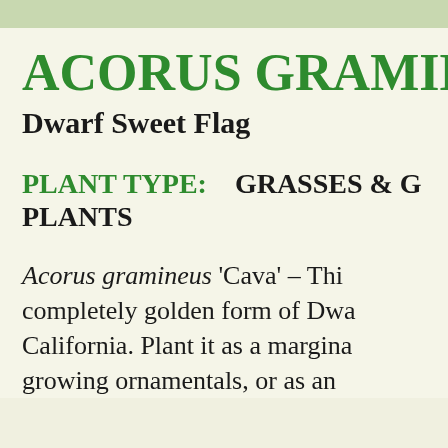ACORUS GRAMINE
Dwarf Sweet Flag
PLANT TYPE:   GRASSES & G PLANTS
Acorus gramineus 'Cava' – This completely golden form of Dwa California. Plant it as a margina growing ornamentals, or as an